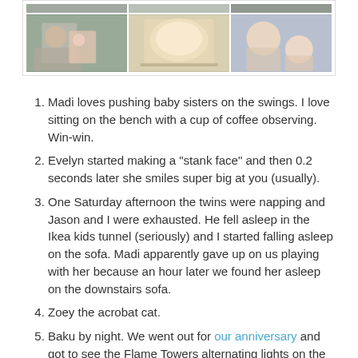[Figure (photo): A collage of three photos: a woman with a toddler at a kitchen counter, a loaf of bread on a cooling rack, and two people making funny faces close to the camera.]
Madi loves pushing baby sisters on the swings. I love sitting on the bench with a cup of coffee observing. Win-win.
Evelyn started making a "stank face" and then 0.2 seconds later she smiles super big at you (usually).
One Saturday afternoon the twins were napping and Jason and I were exhausted. He fell asleep in the Ikea kids tunnel (seriously) and I started falling asleep on the sofa. Madi apparently gave up on us playing with her because an hour later we found her asleep on the downstairs sofa.
Zoey the acrobat cat.
Baku by night. We went out for our anniversary and got to see the Flame Towers alternating lights on the